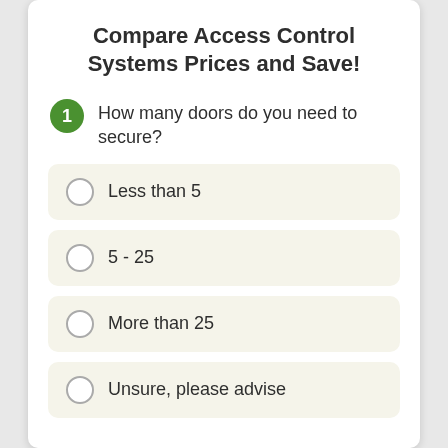Compare Access Control Systems Prices and Save!
1 How many doors do you need to secure?
Less than 5
5 - 25
More than 25
Unsure, please advise